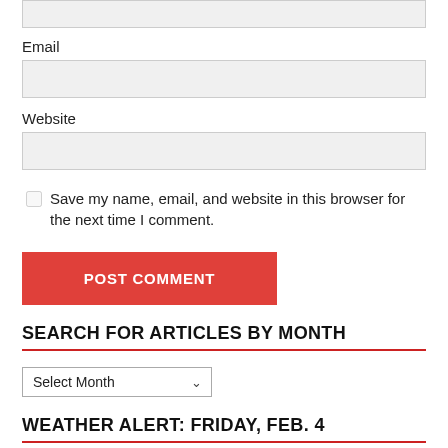Email
Website
Save my name, email, and website in this browser for the next time I comment.
POST COMMENT
SEARCH FOR ARTICLES BY MONTH
Select Month
WEATHER ALERT: FRIDAY, FEB. 4
Due to icing roads, in-person classes will revert to remote instruction for classes starting after 1 pm today. Non-essential